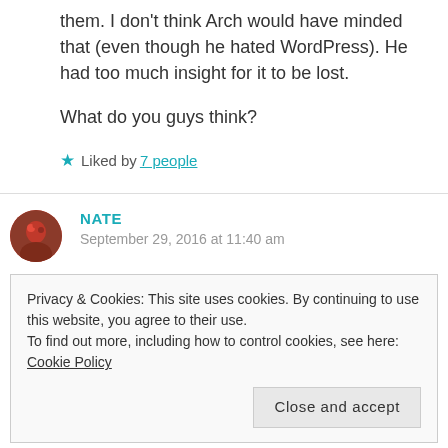them. I don't think Arch would have minded that (even though he hated WordPress). He had too much insight for it to be lost.
What do you guys think?
★ Liked by 7 people
NATE
September 29, 2016 at 11:40 am
Privacy & Cookies: This site uses cookies. By continuing to use this website, you agree to their use.
To find out more, including how to control cookies, see here: Cookie Policy
Close and accept